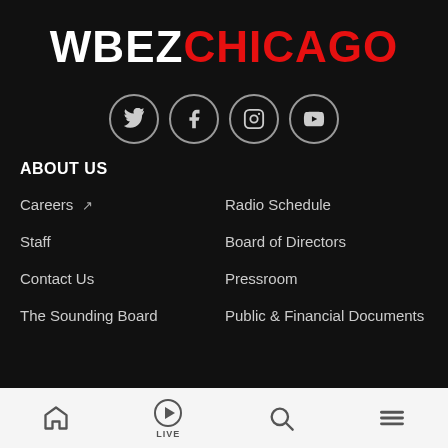WBEZ CHICAGO
[Figure (infographic): Social media icons row: Twitter, Facebook, Instagram, YouTube — circular grey-bordered icons on dark background]
ABOUT US
Careers (external link)
Radio Schedule
Staff
Board of Directors
Contact Us
Pressroom
The Sounding Board
Public & Financial Documents
Home | LIVE | Search | Menu